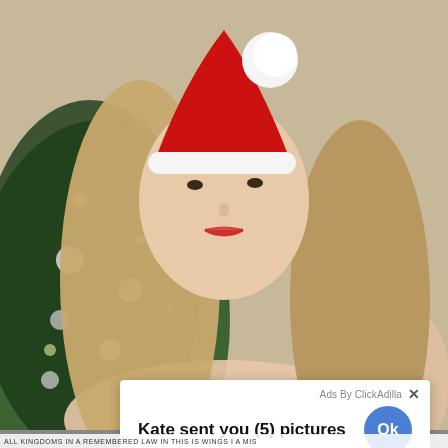[Figure (photo): Young woman wearing a red and white Santa hat with long blonde hair and red lipstick, posed in front of a Christmas tree with silver ornaments and lights]
Ads By ClickAdilla ×
Kate sent you (5) pictures
Click OK to display the photo
[Figure (other): Large blue circular Ok button]
a1h